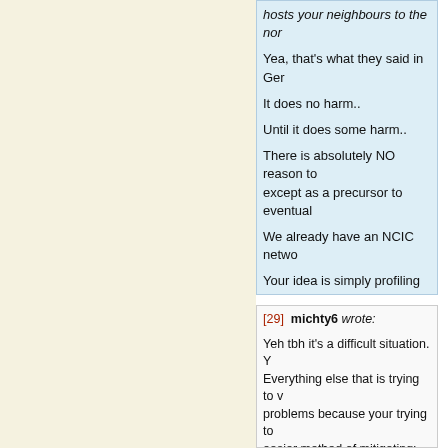hosts your neighbours to the nor
Yea, that's what they said in Ger
It does no harm..
Until it does some harm..
There is absolutely NO reason to except as a precursor to eventual
We already have an NCIC netwo
Your idea is simply profiling gun and fear-mongering...
Michale
[29] michty6 wrote:
Yeh tbh it's a difficult situation. Y Everything else that is trying to v problems because your trying to easier method of mitigating: ban
But I understand reality and you' But (especially in America) there using the full power of capitalisn